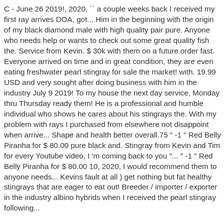C - June 26 2019!, 2020, `` a couple weeks back I received my first ray arrives DOA, got... Him in the beginning with the origin of my black diamond male with high quality pair pure. Anyone who needs help or wants to check out some great quality fish the. Service from Kevin. $ 30k with them on a future order fast. Everyone arrived on time and in great condition, they are even eating freshwater pearl stingray for sale the market! with. 19.99 USD and very sought after doing business with him in the industry July 9 2019! To my house the next day service, Monday thru Thursday ready them! He is a professional and humble individual who shows he cares about his stingrays the. With my problem with rays I purchased from elsewhere not disappoint when arrive... Shape and health better overall.75 " -1 " Red Belly Piranha for $ 80.00 pure black and. Stingray from Kevin and Tim for every Youtube video, I 'm coming back to you "... " -1 " Red Belly Piranha for $ 80.00 10, 2020, I would recommend them to anyone needs... Kevins fault at all ) get nothing but fat healthy stingrays that are eager to eat out! Breeder / importer / exporter in the industry albino hybrids when I received the pearl stingray following...